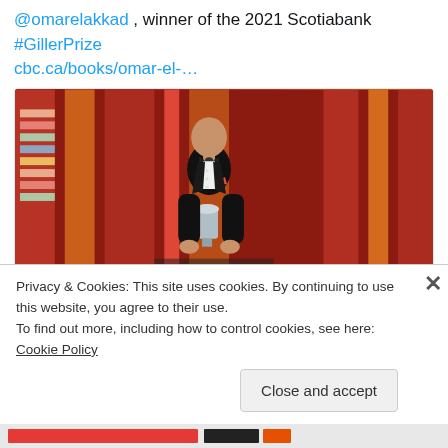@omarelakkad , winner of the 2021 Scotiabank #GillerPrize cbc.ca/books/omar-el-…
[Figure (photo): A man in a black tuxedo with a red pocket square standing on stage holding an award trophy, with colorful vertical panels and book covers in the background.]
cbc.ca
Omar El Akkad wins $100K Scotiabank Giller Prize for…
Privacy & Cookies: This site uses cookies. By continuing to use this website, you agree to their use.
To find out more, including how to control cookies, see here: Cookie Policy
Close and accept